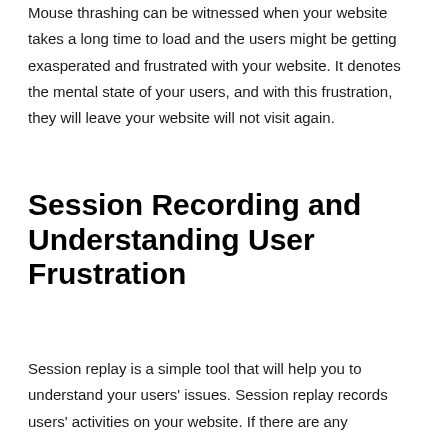Mouse thrashing can be witnessed when your website takes a long time to load and the users might be getting exasperated and frustrated with your website. It denotes the mental state of your users, and with this frustration, they will leave your website will not visit again.
Session Recording and Understanding User Frustration
Session replay is a simple tool that will help you to understand your users' issues. Session replay records users' activities on your website. If there are any